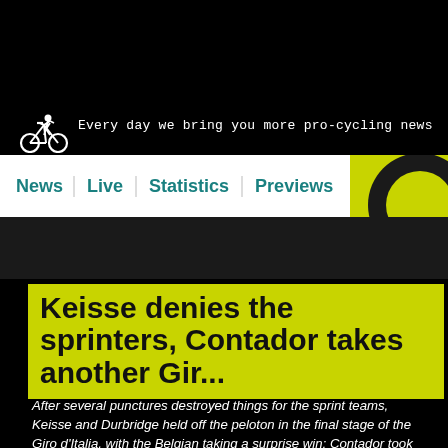Every day we bring you more pro-cycling news
[Figure (logo): Cyclist icon (white silhouette on black background)]
News | Live | Statistics | Previews
[Figure (logo): Cyclingnews yellow circle logo with dark C letter, partial view top-right]
Keisse denies the sprinters, Contador takes another Gir...
After several punctures destroyed things for the sprint teams, Keisse and Durbridge held off the peloton in the final stage of the Giro d'Italia, with the Belgian taking a surprise win; Contador took his second Giro